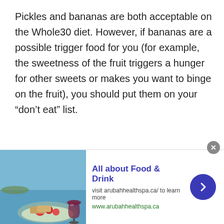Pickles and bananas are both acceptable on the Whole30 diet. However, if bananas are a possible trigger food for you (for example, the sweetness of the fruit triggers a hunger for other sweets or makes you want to binge on the fruit), you should put them on your “don’t eat” list.
[Figure (other): Advertisement banner: image of food and wine on left, bold blue heading 'All about Food & Drink', subtext 'visit arubahhealthspa.ca/ to learn more', URL 'www.arubahhealthspa.ca', blue circular arrow button on right, close button top right]